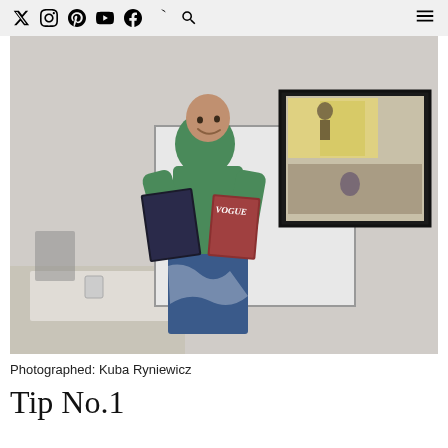social media icons and hamburger menu
[Figure (photo): A bald man in a green jacket and patterned shorts stands smiling in a classroom/presentation room, holding up two magazine covers. Behind him is a whiteboard and a projector screen showing climbing photos.]
Photographed: Kuba Ryniewicz
Tip No.1